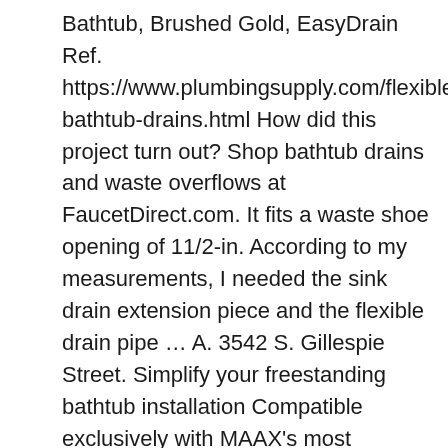Bathtub, Brushed Gold, EasyDrain Ref. https://www.plumbingsupply.com/flexible-bathtub-drains.html How did this project turn out? Shop bathtub drains and waste overflows at FaucetDirect.com. It fits a waste shoe opening of 11/2-in. According to my measurements, I needed the sink drain extension piece and the flexible drain pipe … A. 3542 S. Gillespie Street. Simplify your freestanding bathtub installation Compatible exclusively with MAAX's most popular freestanding bathtubs, F2 Drain is a MAAX innovation designed to simplify your life. Select 2 or more products for side-by-side feature comparison. Watch; Lift and Turn Bathtub Replacement Tub Drain Overflow Cover Kit... Positive mechanical stop stays open even in deep water for draining, Flexible stopper helps prevent toe stubbing or stem breakage, Snap-on overflow plate and stopper made of durable plastic with plated finish, Model 928-CA: Fits most tubs up to 16" high. The new bathtub drain. You